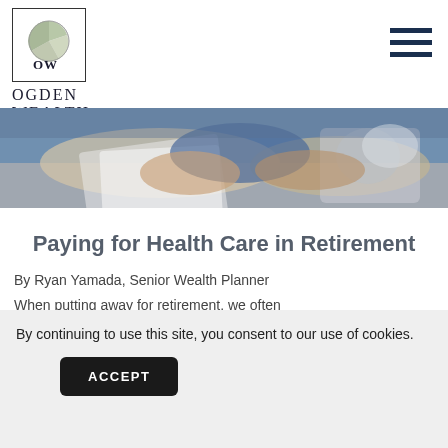OGDEN WEALTH
[Figure (photo): Person's hands on desk reviewing documents with a laptop in the background, business setting]
Paying for Health Care in Retirement
By Ryan Yamada, Senior Wealth Planner
When putting away for retirement, we often dream about all the things we'll be able to do
By continuing to use this site, you consent to our use of cookies.